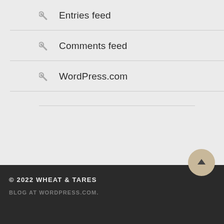Entries feed
Comments feed
WordPress.com
ARCHIVES
Select Month
© 2022 WHEAT & TARES
BLOG AT WORDPRESS.COM.